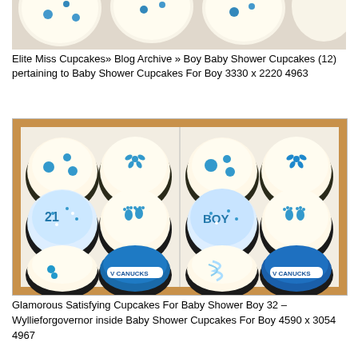[Figure (photo): Partial view of cupcakes at the top of the page, cropped]
Elite Miss Cupcakes» Blog Archive » Boy Baby Shower Cupcakes (12) pertaining to Baby Shower Cupcakes For Boy 3330 x 2220 4963
[Figure (photo): Box of 12 baby shower cupcakes for a boy, decorated in blue and white with Canucks hockey team decorations, baby footprints, flowers, blue dots, sprinkles, and boy lettering]
Glamorous Satisfying Cupcakes For Baby Shower Boy 32 – Wyllieforgovernor inside Baby Shower Cupcakes For Boy 4590 x 3054 4967